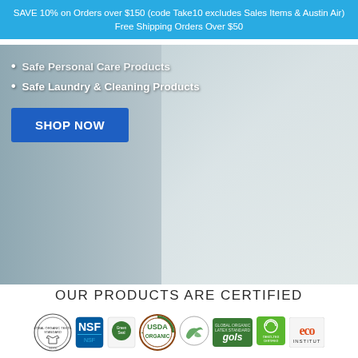SAVE 10% on Orders over $150 (code Take10 excludes Sales Items & Austin Air) Free Shipping Orders Over $50
Safe Personal Care Products
Safe Laundry & Cleaning Products
SHOP NOW
OUR PRODUCTS ARE CERTIFIED
[Figure (logo): Row of certification logos: GOTS (Global Organic Textile Standard), NSF, Green Seal, USDA Organic, Ecologo bird, GOLS, Oeko-Tex, Eco Institut]